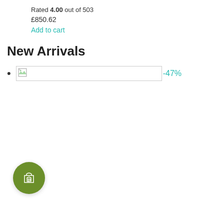Rated 4.00 out of 503
£850.62
Add to cart
New Arrivals
[broken image] -47%
[Figure (illustration): Green circular shopping cart button icon]